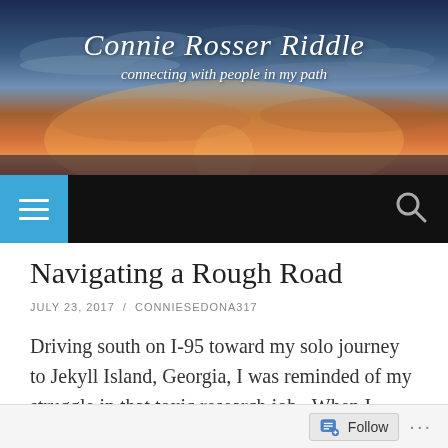Connie Rosser Riddle – connecting with people in my path
Navigating a Rough Road
JULY 23, 2017 / CONNIESEDONA317
Driving south on I-95 toward my solo journey to Jekyll Island, Georgia, I was reminded of my struggle in that toxic research job.  When I passed the exit for Lumberton, North
Follow ...